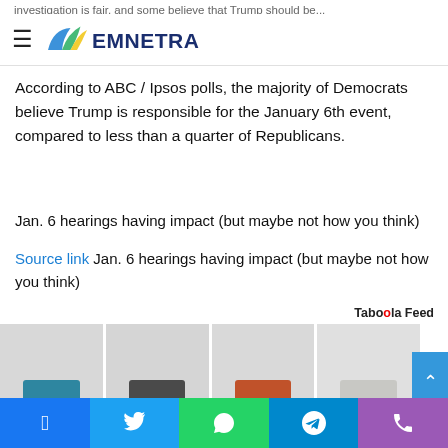EMNETRA
investigation is fair, and some believe that Trump should be...
According to ABC / Ipsos polls, the majority of Democrats believe Trump is responsible for the January 6th event, compared to less than a quarter of Republicans.
Jan. 6 hearings having impact (but maybe not how you think)
Source link Jan. 6 hearings having impact (but maybe not how you think)
[Figure (photo): Row of chairs with colored cushions (teal, gray, orange/red, light gray) against a white background — advertisement/sponsored content image]
Facebook | Twitter | WhatsApp | Telegram | Phone